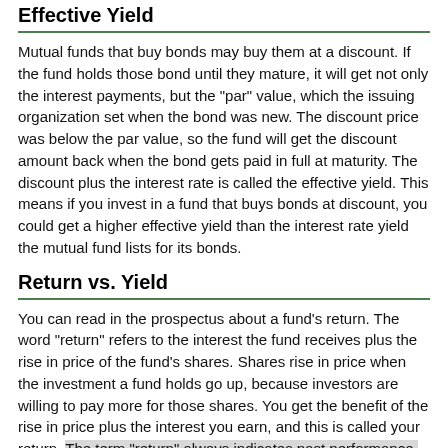Effective Yield
Mutual funds that buy bonds may buy them at a discount. If the fund holds those bond until they mature, it will get not only the interest payments, but the "par" value, which the issuing organization set when the bond was new. The discount price was below the par value, so the fund will get the discount amount back when the bond gets paid in full at maturity. The discount plus the interest rate is called the effective yield. This means if you invest in a fund that buys bonds at discount, you could get a higher effective yield than the interest rate yield the mutual fund lists for its bonds.
Return vs. Yield
You can read in the prospectus about a fund's return. The word "return" refers to the interest the fund receives plus the rise in price of the fund's shares. Shares rise in price when the investment a fund holds go up, because investors are willing to pay more for those shares. You get the benefit of the rise in price plus the interest you earn, and this is called your return. The term "return" always indicates past performance, not future performance. If you read that